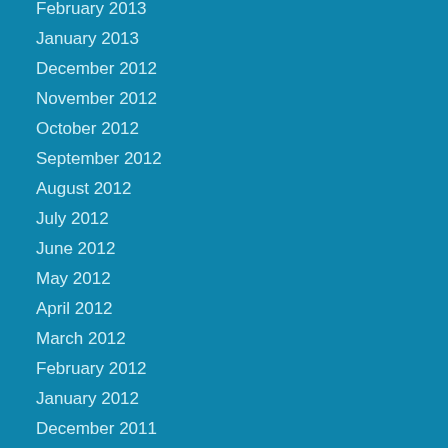February 2013
January 2013
December 2012
November 2012
October 2012
September 2012
August 2012
July 2012
June 2012
May 2012
April 2012
March 2012
February 2012
January 2012
December 2011
November 2011
October 2011